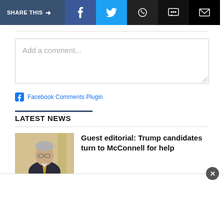SHARE THIS → f (Facebook) (Twitter) (WhatsApp) (Message) (Email)
Add a comment...
Facebook Comments Plugin
LATEST NEWS
[Figure (photo): Headshot of older man in suit with glasses, indoors]
Guest editorial: Trump candidates turn to McConnell for help